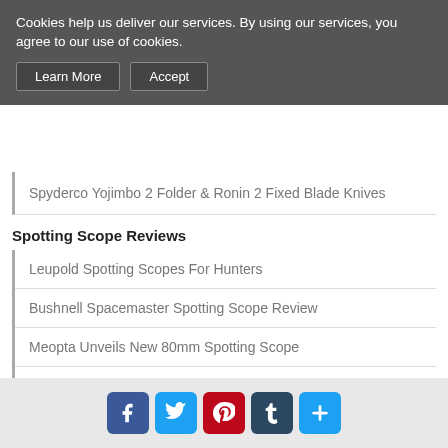Cookies help us deliver our services. By using our services, you agree to our use of cookies.
Learn More | Accept
Spyderco Yojimbo 2 Folder & Ronin 2 Fixed Blade Knives
Spotting Scope Reviews
Leupold Spotting Scopes For Hunters
Bushnell Spacemaster Spotting Scope Review
Meopta Unveils New 80mm Spotting Scope
Meopta Meopro 80 HD Spotting Scope Review
Vortex Razor HD 16-48x65 Spotting Scope Review
New Spotting Scopes
[Figure (infographic): Social media sharing buttons: Facebook, Twitter, Pinterest, Tumblr, and an additional share button]